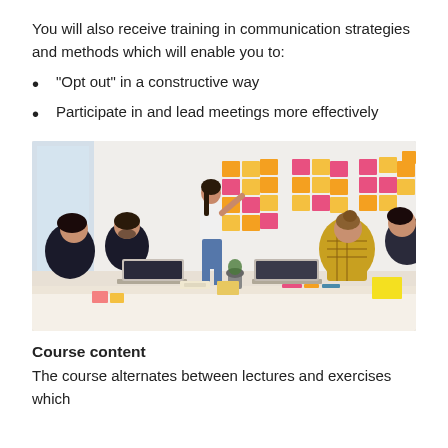You will also receive training in communication strategies and methods which will enable you to:
"Opt out" in a constructive way
Participate in and lead meetings more effectively
[Figure (photo): A woman standing and pointing at a wall covered in colorful sticky notes arranged in groups, while several colleagues sit around a conference table with laptops, watching her present in a bright office setting.]
Course content
The course alternates between lectures and exercises which